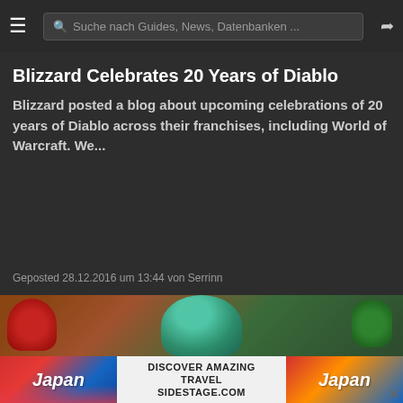Suche nach Guides, News, Datenbanken ...
Blizzard Celebrates 20 Years of Diablo
Blizzard posted a blog about upcoming celebrations of 20 years of Diablo across their franchises, including World of Warcraft. We...
Geposted 28.12.2016 um 13:44 von Serrinn
[Figure (photo): Thumbnail image showing colorful holiday-themed characters/decorations with red bow, teal/green character with hat, and holly]
[Figure (screenshot): Wowhead Weekly popup showing anime-style cartoon characters and text: Patch 9.2 Story | Mage Tower | Wowhead #288, with #288 number overlay]
[Figure (photo): Japan tourism advertisement banner: 'DISCOVER AMAZING TRAVEL SIDESTAGE.COM' with Japan text and mountain imagery on both sides]